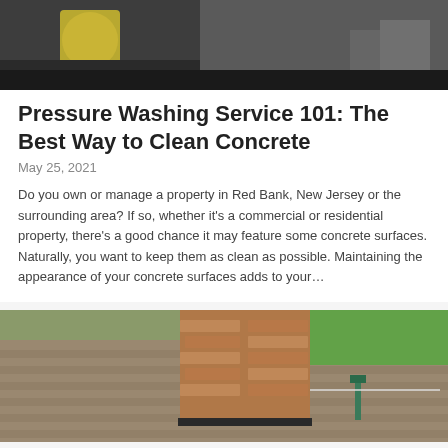[Figure (photo): Person pressure washing a dark surface outdoors, yellow pressure washer visible]
Pressure Washing Service 101: The Best Way to Clean Concrete
May 25, 2021
Do you own or manage a property in Red Bank, New Jersey or the surrounding area? If so, whether it's a commercial or residential property, there's a good chance it may feature some concrete surfaces. Naturally, you want to keep them as clean as possible. Maintaining the appearance of your concrete surfaces adds to your…
[Figure (photo): Rooftop with brick chimney, asphalt shingles, and green lawn visible in background]